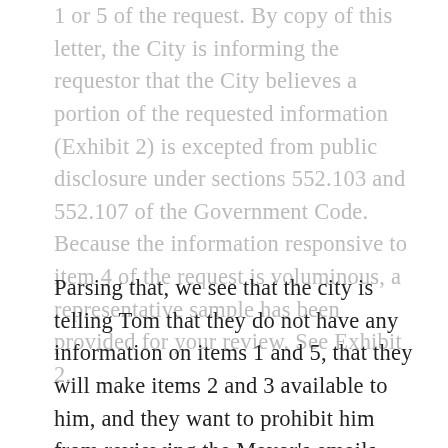1 or 5 of the request. By copy of this letter, the City is informing the requestor that the City believes a portion of the requested information (Exhibit 2) is excepted from public disclosure under sections 552.103 and 552.107 of the Government Code. Because the information responsive to item 4 of the request is voluminous, a representative sample has been provided for your review. See Exhibit 2.
Parsing that, we see that the city is telling Tom that they do not have any information on items 1 and 5, that they will make items 2 and 3 available to him, and they want to prohibit him from reviewing the Mayor's emails related to item 4.